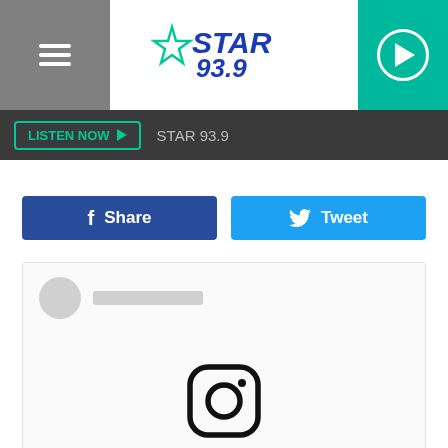[Figure (logo): Star 93.9 radio station header with hamburger menu on left, Star 93.9 logo in center, and green play button on right]
LISTEN NOW ▶  STAR 93.9
[Figure (screenshot): Facebook Share button (blue) and Twitter Tweet button (cyan blue) side by side]
[Figure (screenshot): Instagram embed placeholder with user avatar placeholder at top, large Instagram camera icon in center, and 'View this post on Instagram' link in blue]